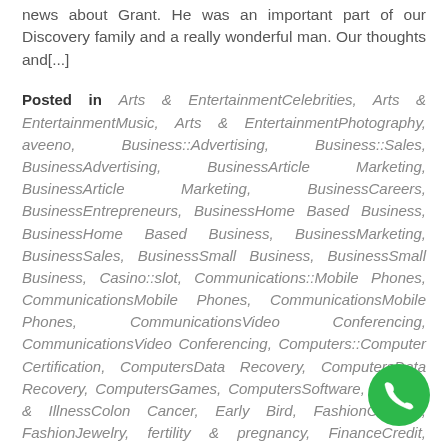news about Grant. He was an important part of our Discovery family and a really wonderful man. Our thoughts and[...]
Posted in Arts & EntertainmentCelebrities, Arts & EntertainmentMusic, Arts & EntertainmentPhotography, aveeno, Business::Advertising, Business::Sales, BusinessAdvertising, BusinessArticle Marketing, BusinessArticle Marketing, BusinessCareers, BusinessEntrepreneurs, BusinessHome Based Business, BusinessHome Based Business, BusinessMarketing, BusinessSales, BusinessSmall Business, BusinessSmall Business, Casino::slot, Communications::Mobile Phones, CommunicationsMobile Phones, CommunicationsMobile Phones, CommunicationsVideo Conferencing, CommunicationsVideo Conferencing, Computers::Computer Certification, ComputersData Recovery, ComputersData Recovery, ComputersGames, ComputersSoftware, Disease & IllnessColon Cancer, Early Bird, FashionClothing, FashionJewelry, fertility & pregnancy, FinanceCredit, FinanceCurrency Trading, FinanceCurrency Trading, FinanceInsurance, FinanceInvesting, FinanceLoans, FinancePersonal Finance, FinancePersonal Finance,
[Figure (other): Green circular phone/call button icon in bottom right corner]